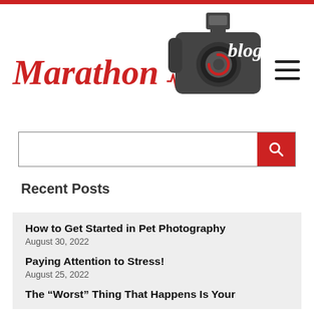[Figure (logo): Marathon blog logo with red italic serif text 'Marathon' and cursive white 'blog' lettering overlaid on a dark grey DSLR camera silhouette with flash]
[Figure (other): Hamburger menu icon with three horizontal dark bars]
[Figure (other): Search bar with red search button containing magnifying glass icon]
Recent Posts
How to Get Started in Pet Photography
August 30, 2022
Paying Attention to Stress!
August 25, 2022
The “Worst” Thing That Happens Is Your